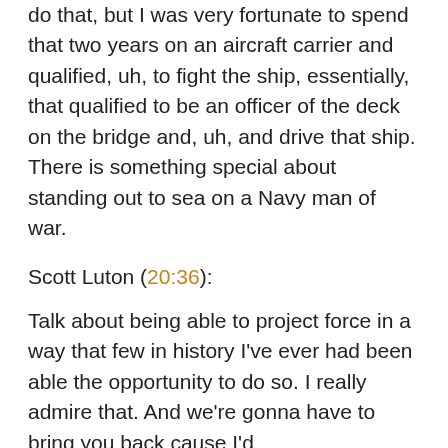do that, but I was very fortunate to spend that two years on an aircraft carrier and qualified, uh, to fight the ship, essentially, that qualified to be an officer of the deck on the bridge and, uh, and drive that ship. There is something special about standing out to sea on a Navy man of war.
Scott Luton (20:36):
Talk about being able to project force in a way that few in history I've ever had been able the opportunity to do so. I really admire that. And we're gonna have to bring you back cause I'd love to discuss deeper into that di...